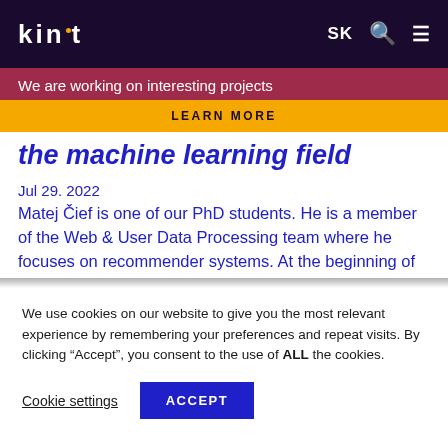kinit SK [search] [menu]
We are working on interesting projects
LEARN MORE
the machine learning field
Jul 29. 2022
Matej Čief is one of our PhD students. He is a member of the Web & User Data Processing team where he focuses on recommender systems. At the beginning of
We use cookies on our website to give you the most relevant experience by remembering your preferences and repeat visits. By clicking “Accept”, you consent to the use of ALL the cookies.
Cookie settings   ACCEPT